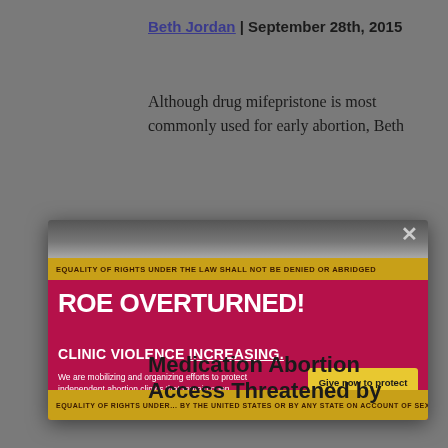Beth Jordan | September 28th, 2015
Although drug mifepristone is most commonly used for early abortion, Beth
[Figure (infographic): Popup advertisement over a black-and-white photo of a protest crowd holding banners. The popup has a magenta background and reads: ROE OVERTURNED! CLINIC VIOLENCE INCREASING. We are mobilizing and organizing efforts to protect independent abortion clinics that remain open. [Give now to protect abortion clinics! button]. A close button (×) appears at the top right.]
Medication Abortion Access Threatened by